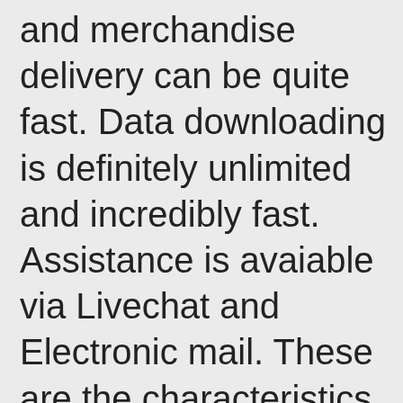and merchandise delivery can be quite fast. Data downloading is definitely unlimited and incredibly fast. Assistance is avaiable via Livechat and Electronic mail. These are the characteristics that makes